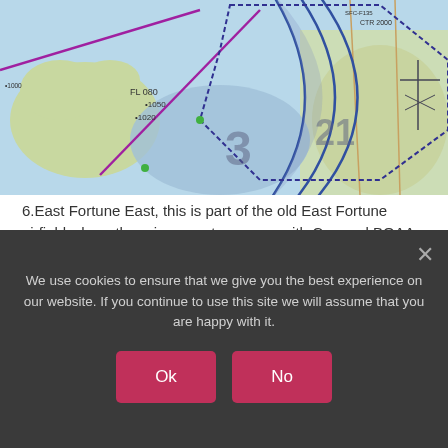[Figure (map): Aeronautical/aviation map showing airspace boundaries, airways, and landmarks including East Fortune area in Scotland. Features blue arc-shaped airspace boundaries, purple route lines, green landmass areas, light blue water bodies, and various aeronautical annotations and altitude markings.]
6.East Fortune East, this is part of the old East Fortune airfield where there is a great museum with Concord BOAA and a Vulcan amongst other things. The strip is hard and used for bike racing, there is an area of the old runway to park on with plenty of room for us. Transport offered to ferry us from the strip round to the museum and also to see an amazing project nearby where a
We use cookies to ensure that we give you the best experience on our website. If you continue to use this site we will assume that you are happy with it.